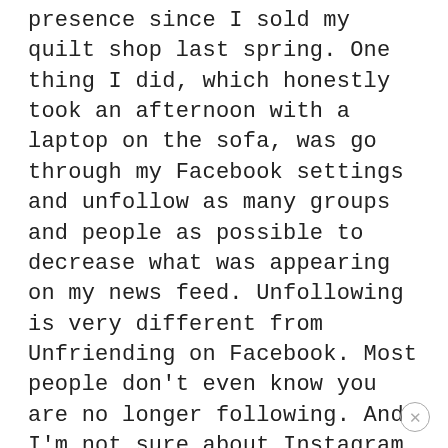presence since I sold my quilt shop last spring. One thing I did, which honestly took an afternoon with a laptop on the sofa, was go through my Facebook settings and unfollow as many groups and people as possible to decrease what was appearing on my news feed. Unfollowing is very different from Unfriending on Facebook. Most people don't even know you are no longer following. And I'm not sure about Instagram, but on Facebook you have an option in Settings that will allow you to specify where your posts land. You may not want to be posting as public as you have in the past. We will still follow you! Also, your emails are amazing. I am always so happy to receive them. Don't feel responsible for getting your posts to people who haven't taken the time to subscribe. We are all adults here! Prayers for more